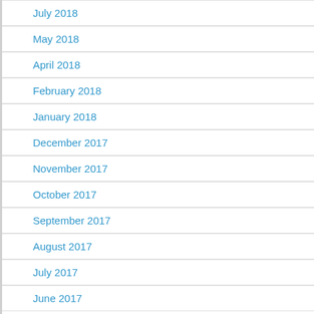July 2018
May 2018
April 2018
February 2018
January 2018
December 2017
November 2017
October 2017
September 2017
August 2017
July 2017
June 2017